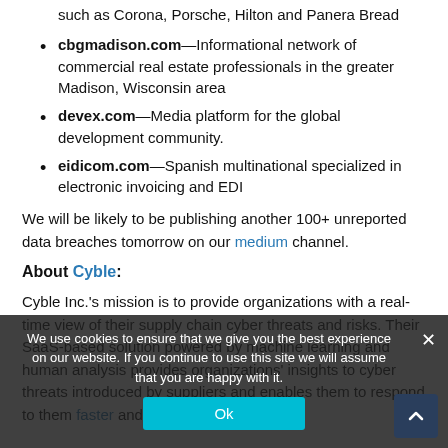such as Corona, Porsche, Hilton and Panera Bread
cbgmadison.com—Informational network of commercial real estate professionals in the greater Madison, Wisconsin area
devex.com—Media platform for the global development community.
eidicom.com—Spanish multinational specialized in electronic invoicing and EDI
We will be likely to be publishing another 100+ unreported data breaches tomorrow on our medium channel.
About Cyble:
Cyble Inc.'s mission is to provide organizations with a real-time view of their supply chain cyber threats and risks. Their SaaS-based solution powered by machine learning and human analysis provides organizations' insights to cyber threats introduced by suppliers and enables them to respond to them faster and more efficiently.
We use cookies to ensure that we give you the best experience on our website. If you continue to use this site we will assume that you are happy with it.
Ok